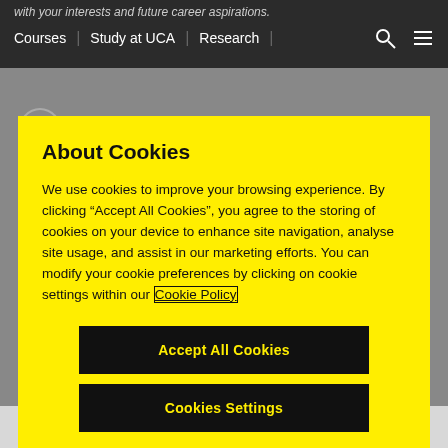with your interests and future career aspirations.
Courses | Study at UCA | Research
About Cookies
We use cookies to improve your browsing experience. By clicking “Accept All Cookies”, you agree to the storing of cookies on your device to enhance site navigation, analyse site usage, and assist in our marketing efforts. You can modify your cookie preferences by clicking on cookie settings within our Cookie Policy
Accept All Cookies
Cookies Settings
guide. The content of the course may be subject to